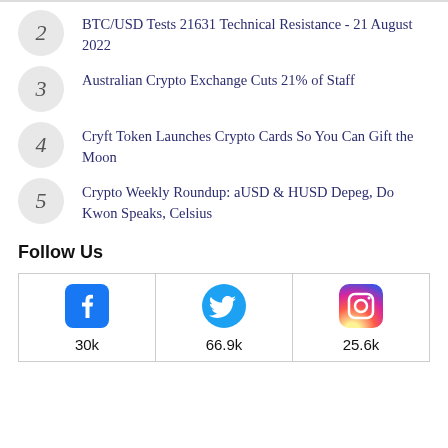2 BTC/USD Tests 21631 Technical Resistance - 21 August 2022
3 Australian Crypto Exchange Cuts 21% of Staff
4 Cryft Token Launches Crypto Cards So You Can Gift the Moon
5 Crypto Weekly Roundup: aUSD & HUSD Depeg, Do Kwon Speaks, Celsius
Follow Us
| Facebook | Twitter | Instagram |
| --- | --- | --- |
| 30k | 66.9k | 25.6k |